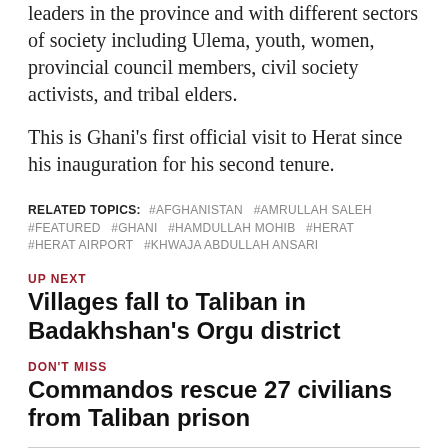leaders in the province and with different sectors of society including Ulema, youth, women, provincial council members, civil society activists, and tribal elders.
This is Ghani's first official visit to Herat since his inauguration for his second tenure.
RELATED TOPICS: #AFGHANISTAN  #AMRULLAH SALEH  #FEATURED  #GHANI  #HAMDULLAH MOHIB  #HERAT  #HERAT AIRPORT  #KHWAJA ABDULLAH ANSARI
UP NEXT
Villages fall to Taliban in Badakhshan's Orgu district
DON'T MISS
Commandos rescue 27 civilians from Taliban prison
YOU MAY LIKE
[Figure (photo): Thumbnail photo of a person]
It is in the interest of Afghanistan, world to